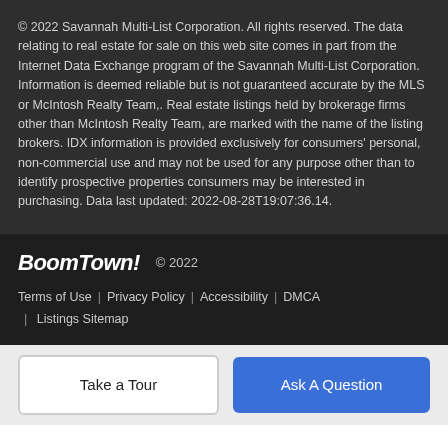© 2022 Savannah Multi-List Corporation. All rights reserved. The data relating to real estate for sale on this web site comes in part from the Internet Data Exchange program of the Savannah Multi-List Corporation. Information is deemed reliable but is not guaranteed accurate by the MLS or McIntosh Realty Team,. Real estate listings held by brokerage firms other than McIntosh Realty Team, are marked with the name of the listing brokers. IDX information is provided exclusively for consumers' personal, non-commercial use and may not be used for any purpose other than to identify prospective properties consumers may be interested in purchasing. Data last updated: 2022-08-28T19:07:36.14.
BoomTown! © 2022  Terms of Use | Privacy Policy | Accessibility | DMCA | Listings Sitemap
Take a Tour
Ask A Question